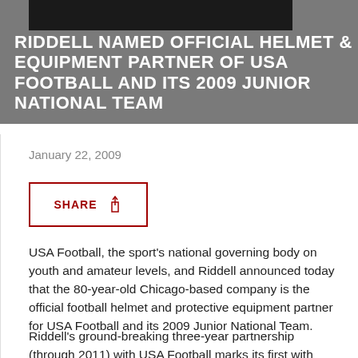RIDDELL NAMED OFFICIAL HELMET & EQUIPMENT PARTNER OF USA FOOTBALL AND ITS 2009 JUNIOR NATIONAL TEAM
January 22, 2009
SHARE
USA Football, the sport's national governing body on youth and amateur levels, and Riddell announced today that the 80-year-old Chicago-based company is the official football helmet and protective equipment partner for USA Football and its 2009 Junior National Team.
Riddell's ground-breaking three-year partnership (through 2011) with USA Football marks its first with